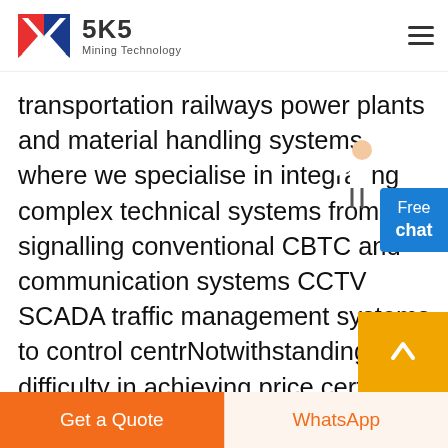SKS Mining Technology
transportation railways power plants and material handling systems where we specialise in integrating complex technical systems from signalling conventional CBTC and communication systems CCTV SCADA traffic management systems to control centrNotwithstanding the difficulty in achieving price certainty regulated utilities will likely be extremely averse to accepting pricing and other terms and conditions in turnkey nucle
[Figure (other): Free chat widget button (blue rounded rectangle) with a customer service person figure]
[Figure (other): Scroll-to-top button (gold/orange square with upward arrow)]
Get a Quote | WhatsApp